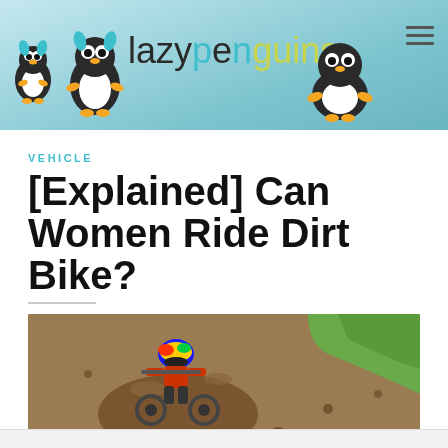[Figure (logo): Lazy Penguins website header with penguin mascots and colorful logo text reading 'lazypenguins' on a light blue background]
VEHICLE
[Explained] Can Women Ride Dirt Bike?
[Figure (photo): A dirt bike rider wearing a colorful helmet navigating through muddy terrain, with brown dirt and clumps of mud visible across the frame, green grass visible in the upper right]